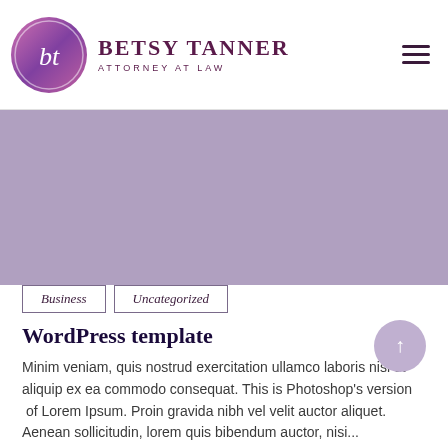[Figure (logo): Betsy Tanner Attorney at Law logo with circular gradient icon containing 'bt' initials and brand name text]
[Figure (illustration): Purple/mauve hero banner area]
Business
Uncategorized
WordPress template
Minim veniam, quis nostrud exercitation ullamco laboris nisi ut aliquip ex ea commodo consequat. This is Photoshop’s version  of Lorem Ipsum. Proin gravida nibh vel velit auctor aliquet. Aenean sollicitudin, lorem quis bibendum auctor, nisi...